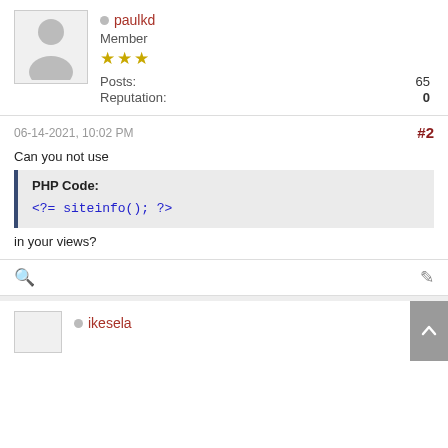paulkd
Member
★★★
Posts: 65
Reputation: 0
06-14-2021, 10:02 PM
#2
Can you not use
PHP Code:
<?= siteinfo(); ?>
in your views?
ikesela